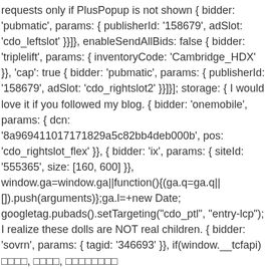requests only if PlusPopup is not shown { bidder: 'pubmatic', params: { publisherId: '158679', adSlot: 'cdo_leftslot' }}]}, enableSendAllBids: false { bidder: 'triplelift', params: { inventoryCode: 'Cambridge_HDX' }}, 'cap': true { bidder: 'pubmatic', params: { publisherId: '158679', adSlot: 'cdo_rightslot2' }}]}]; storage: { I would love it if you followed my blog. { bidder: 'onemobile', params: { dcn: '8a969411017171829a5c82bb4deb000b', pos: 'cdo_rightslot_flex' }}, { bidder: 'ix', params: { siteId: '555365', size: [160, 600] }}, window.ga=window.ga||function(){(ga.q=ga.q||[]).push(arguments)};ga.l=+new Date; googletag.pubads().setTargeting("cdo_ptl", "entry-lcp"); I realize these dolls are NOT real children. { bidder: 'sovrn', params: { tagid: '346693' }}, if(window.__tcfapi) □□□□, □□□□, □□□□□□□□